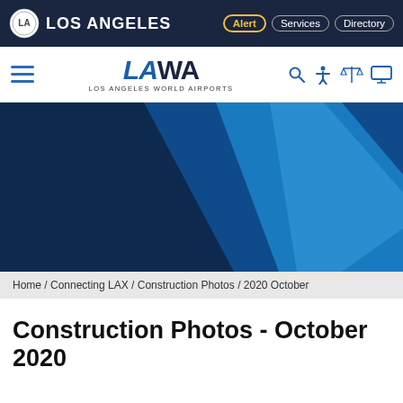LOS ANGELES | Alert | Services | Directory
[Figure (logo): LAWA - Los Angeles World Airports logo with hamburger menu and icons]
[Figure (illustration): LAWA hero banner with dark blue and bright blue diagonal geometric shapes]
Home / Connecting LAX / Construction Photos / 2020 October
Construction Photos - October 2020